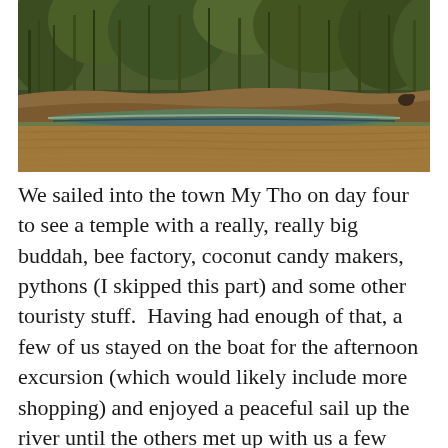[Figure (photo): A narrow wooden boat moored at a muddy riverbank with brown murky water in the foreground and dense green vegetation in the background.]
We sailed into the town My Tho on day four to see a temple with a really, really big buddah, bee factory, coconut candy makers, pythons (I skipped this part) and some other touristy stuff.  Having had enough of that, a few of us stayed on the boat for the afternoon excursion (which would likely include more shopping) and enjoyed a peaceful sail up the river until the others met up with us a few hours later.  Sailing along the water never got old, the fisherman, the children waving from the banks, the floating neighborhoods.  I sat for